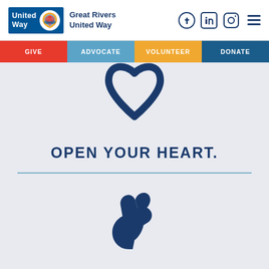Great Rivers United Way
[Figure (logo): United Way logo with blue background and multicolor circular icon, alongside text 'Great Rivers United Way' and social media icons (Facebook, LinkedIn, Instagram) and hamburger menu]
GIVE | ADVOCATE | VOLUNTEER | DONATE
[Figure (illustration): Dark navy heart outline / location pin icon on light lavender background]
OPEN YOUR HEART.
[Figure (illustration): Dark navy flexing arm / bicep muscle icon on light lavender background]